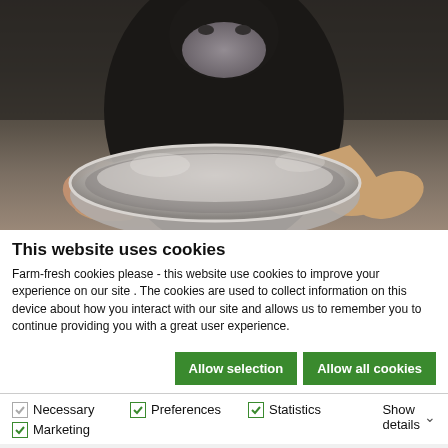[Figure (photo): Person wearing a dark shirt and face mask holding a metal sieve/bowl with flour or powder, photographed from the front against a dark background.]
This website uses cookies
Farm-fresh cookies please - this website use cookies to improve your experience on our site . The cookies are used to collect information on this device about how you interact with our site and allows us to remember you to continue providing you with a great user experience.
Allow selection  Allow all cookies
Necessary  Preferences  Statistics  Marketing  Show details